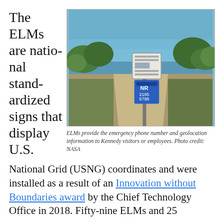The ELMs are national standardized signs that display U.S.
[Figure (photo): Outdoor photo of an ELM (Emergency Location Marker) sign on a post at Kennedy Space Center. The sign displays emergency phone number and USNG geolocation coordinates. Blue sky, water, and vegetation visible in background.]
ELMs provide the emergency phone number and geolocation information to Kennedy visitors or employees. Photo credit: NASA
National Grid (USNG) coordinates and were installed as a result of an Innovation without Boundaries award by the Chief Technology Office in 2018. Fifty-nine ELMs and 25